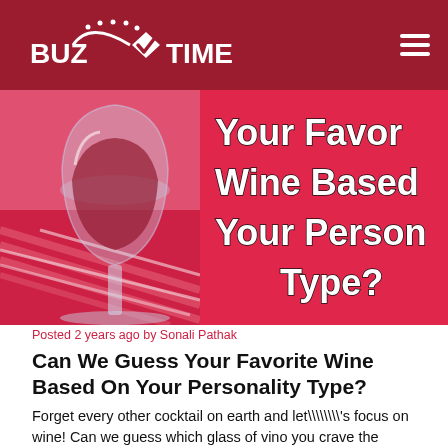BuzTime
[Figure (photo): A red wine glass on a pink/red striped tablecloth on the left; pink/red background with bold white outlined text 'Your Favorite Wine Based On Your Personality Type?' on the right side, partially cropped]
Posted 2 years ago by Sonali Pathak
Can We Guess Your Favorite Wine Based On Your Personality Type?
Forget every other cocktail on earth and let\\\\'s focus on wine! Can we guess which glass of vino you crave the most...